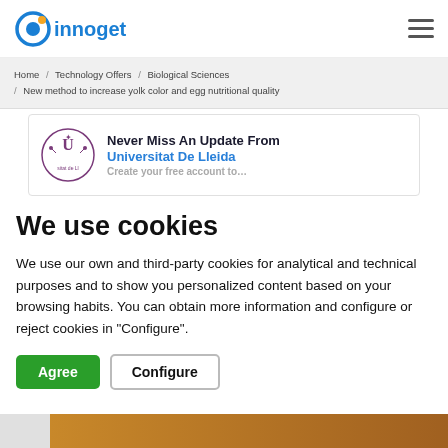innoget
Home / Technology Offers / Biological Sciences / New method to increase yolk color and egg nutritional quality
Never Miss An Update From Universitat De Lleida
We use cookies
We use our own and third-party cookies for analytical and technical purposes and to show you personalized content based on your browsing habits. You can obtain more information and configure or reject cookies in "Configure".
Agree  Configure